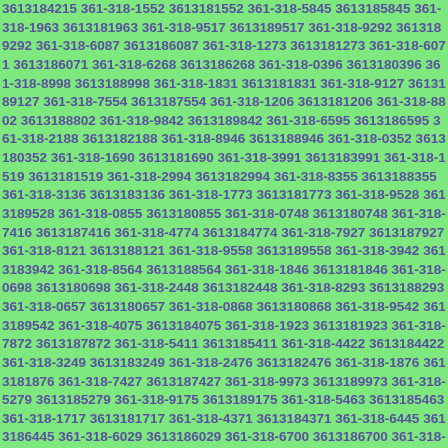3613184215 361-318-1552 3613181552 361-318-5845 3613185845 361-318-1963 3613181963 361-318-9517 3613189517 361-318-9292 3613189292 361-318-6087 3613186087 361-318-1273 3613181273 361-318-6071 3613186071 361-318-6268 3613186268 361-318-0396 3613180396 361-318-8998 3613188998 361-318-1831 3613181831 361-318-9127 3613189127 361-318-7554 3613187554 361-318-1206 3613181206 361-318-8802 3613188802 361-318-9842 3613189842 361-318-6595 3613186595 361-318-2188 3613182188 361-318-8946 3613188946 361-318-0352 3613180352 361-318-1690 3613181690 361-318-3991 3613183991 361-318-1519 3613181519 361-318-2994 3613182994 361-318-8355 3613188355 361-318-3136 3613183136 361-318-1773 3613181773 361-318-9528 3613189528 361-318-0855 3613180855 361-318-0748 3613180748 361-318-7416 3613187416 361-318-4774 3613184774 361-318-7927 3613187927 361-318-8121 3613188121 361-318-9558 3613189558 361-318-3942 3613183942 361-318-8564 3613188564 361-318-1846 3613181846 361-318-0698 3613180698 361-318-2448 3613182448 361-318-8293 3613188293 361-318-0657 3613180657 361-318-0868 3613180868 361-318-9542 3613189542 361-318-4075 3613184075 361-318-1923 3613181923 361-318-7872 3613187872 361-318-5411 3613185411 361-318-4422 3613184422 361-318-3249 3613183249 361-318-2476 3613182476 361-318-1876 3613181876 361-318-7427 3613187427 361-318-9973 3613189973 361-318-5279 3613185279 361-318-9175 3613189175 361-318-5463 3613185463 361-318-1717 3613181717 361-318-4371 3613184371 361-318-6445 3613186445 361-318-6029 3613186029 361-318-6700 3613186700 361-318-5068 3613185068 361-318-...